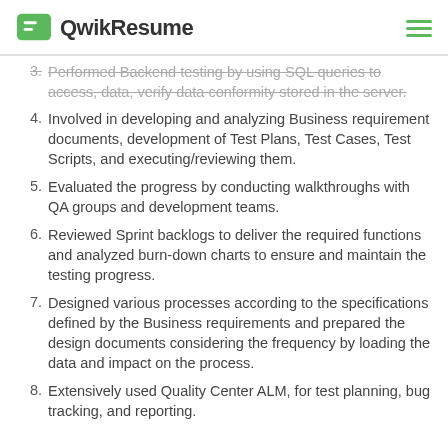QwikResume
Performed Backend testing by using SQL queries to access, data, verify data conformity stored in the server.
Involved in developing and analyzing Business requirement documents, development of Test Plans, Test Cases, Test Scripts, and executing/reviewing them.
Evaluated the progress by conducting walkthroughs with QA groups and development teams.
Reviewed Sprint backlogs to deliver the required functions and analyzed burn-down charts to ensure and maintain the testing progress.
Designed various processes according to the specifications defined by the Business requirements and prepared the design documents considering the frequency by loading the data and impact on the process.
Extensively used Quality Center ALM, for test planning, bug tracking, and reporting.